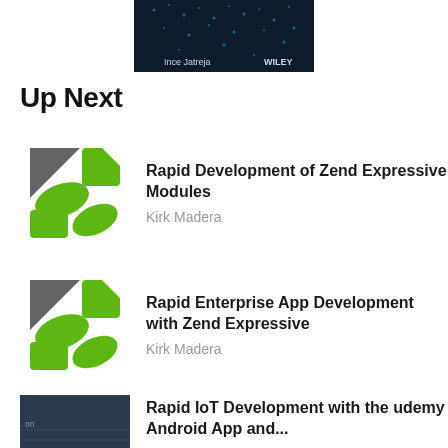[Figure (screenshot): Dark blue/black book cover thumbnail with cyan digital pattern, author name and Wiley logo at bottom]
Up Next
[Figure (logo): Green stylized Z/feather logo for Zend Expressive]
Rapid Development of Zend Expressive Modules
Kirk Madera
[Figure (logo): Green stylized Z/feather logo for Zend Expressive]
Rapid Enterprise App Development with Zend Expressive
Kirk Madera
[Figure (screenshot): Dark screenshot thumbnail partial]
Rapid IoT Development with the udemy Android App and...